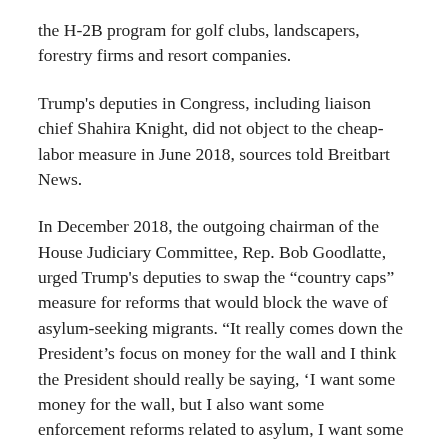the H-2B program for golf clubs, landscapers, forestry firms and resort companies.
Trump's deputies in Congress, including liaison chief Shahira Knight, did not object to the cheap-labor measure in June 2018, sources told Breitbart News.
In December 2018, the outgoing chairman of the House Judiciary Committee, Rep. Bob Goodlatte, urged Trump's deputies to swap the “country caps” measure for reforms that would block the wave of asylum-seeking migrants. “It really comes down the President’s focus on money for the wall and I think the President should really be saying, ‘I want some money for the wall, but I also want some enforcement reforms related to asylum, I want some reforms related to catch-and-release policies,’” he said.